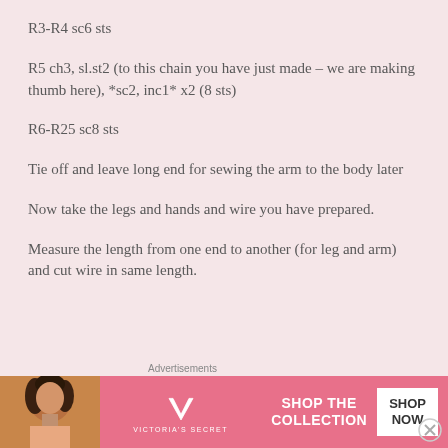R3-R4 sc6 sts
R5 ch3, sl.st2 (to this chain you have just made – we are making thumb here), *sc2, inc1* x2 (8 sts)
R6-R25 sc8 sts
Tie off and leave long end for sewing the arm to the body later
Now take the legs and hands and wire you have prepared.
Measure the length from one end to another (for leg and arm) and cut wire in same length.
Advertisements
[Figure (photo): Victoria's Secret advertisement banner with model, VS logo, SHOP THE COLLECTION text, and SHOP NOW button]